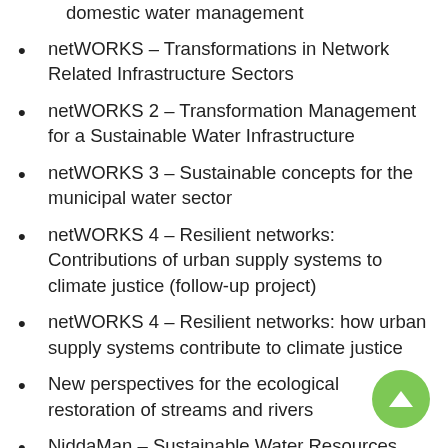domestic water management
netWORKS – Transformations in Network Related Infrastructure Sectors
netWORKS 2 – Transformation Management for a Sustainable Water Infrastructure
netWORKS 3 – Sustainable concepts for the municipal water sector
netWORKS 4 – Resilient networks: Contributions of urban supply systems to climate justice (follow-up project)
netWORKS 4 – Resilient networks: how urban supply systems contribute to climate justice
New perspectives for the ecological restoration of streams and rivers
NiddaMan – Sustainable Water Resources Management in the Nidda Catchment Area
P-Net – Regional network for resource-efficient